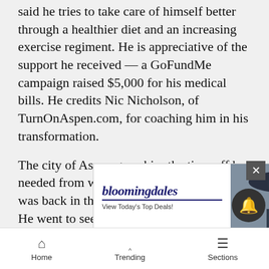said he tries to take care of himself better through a healthier diet and an increasing exercise regiment. He is appreciative of the support he received — a GoFundMe campaign raised $5,000 for his medical bills. He credits Nic Nicholson, of TurnOnAspen.com, for coaching him in his transformation.
The city of Aspen gave him the time off he needed from work so he could recover. He was back in the office earlier this month. He went to see Pearl Jam play in Telluride in July, and he's gearing up for the Aspen Mac & Cheese Festival set for Sept. 10. Bulicz said he hopes to have a mental-health booth with the help of Christina King of Aspen Strong, a nonprofit that focuses on mental health, at the festival. He also aims t[o...] festiva[l...]
[Figure (screenshot): Bloomingdale's advertisement banner: logo, 'View Today's Top Deals!' tagline, photo of woman in hat, 'SHOP NOW >' button]
Home  Trending  Sections